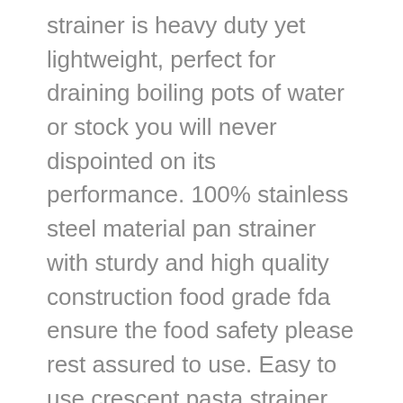strainer is heavy duty yet lightweight, perfect for draining boiling pots of water or stock you will never dispointed on its performance. 100% stainless steel material pan strainer with sturdy and high quality construction food grade fda ensure the food safety please rest assured to use. Easy to use crescent pasta strainer with two large or long handles for safe use, just put it on top of pot or pan,then tilt, very easy straining without a colander dishwasher safe to use. Satisfaction guarantee we have the best standard for quality assurance and we take customers satisfaction very seriously no hassle 30 days money back/replacement warranty with lifetime. Crescent pot strainer improved crescent design fit on most pots and pans (size up to 10 inches), moreover, non-directional handle allow for left and right-handed users.